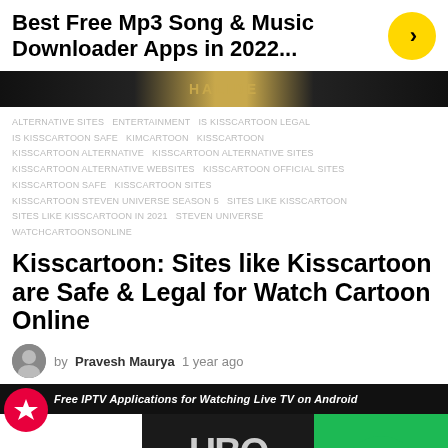Best Free Mp3 Song & Music Downloader Apps in 2022...
[Figure (screenshot): Dark banner image with text HALIDE visible]
ALTERNATIVE SITES  ENTERTAINMENT  IS KISSCARTOON LEGAL  IS KISSCARTOON SAFE  KIMCARTOON  KISSCARTOON  KISSCARTOON ALTERNATIVE  KISSCARTOON ALTERNATIVE SITES  KISSCARTOON ALTERNATIVE WEBSITES  KISSCARTOON OFFICIAL SITES  KISSCARTOON SAFE  KISSCARTOON SITES  KISSCARTOON STEVEN UNIVERSE SEASON 5  SITES LIKE KISSCARTOON  SITES LIKE KISSCARTOON IN 2021  STEVEN UNIVERSE  WATCHCARTOONSONLINE
Kisscartoon: Sites like Kisscartoon are Safe & Legal for Watch Cartoon Online
by Pravesh Maurya  1 year ago
[Figure (screenshot): Bottom banner showing Free IPTV Applications for Watching Live TV on Android with Netflix, HBO Go, and Spotify logos]